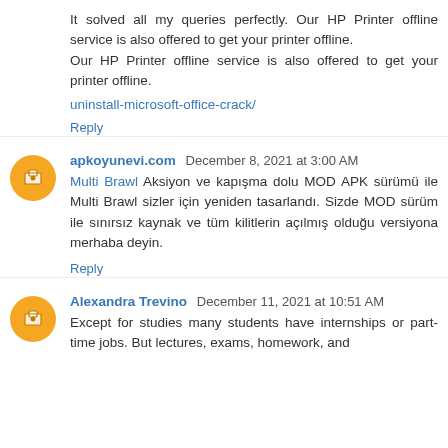It solved all my queries perfectly. Our HP Printer offline service is also offered to get your printer offline. Our HP Printer offline service is also offered to get your printer offline.
uninstall-microsoft-office-crack/
Reply
apkoyunevi.com  December 8, 2021 at 3:00 AM
Multi Brawl Aksiyon ve kapışma dolu MOD APK sürümü ile Multi Brawl sizler için yeniden tasarlandı. Sizde MOD sürüm ile sınırsız kaynak ve tüm kilitlerin açılmış olduğu versiyona merhaba deyin.
Reply
Alexandra Trevino  December 11, 2021 at 10:51 AM
Except for studies many students have internships or part-time jobs. But lectures, exams, homework, and